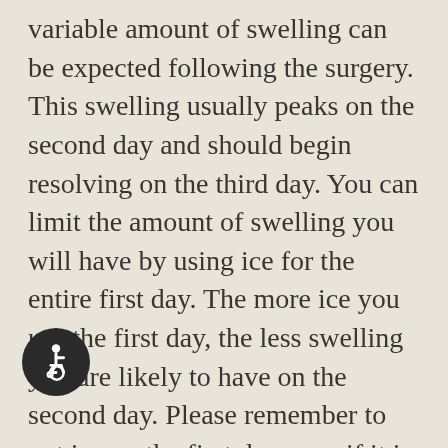variable amount of swelling can be expected following the surgery. This swelling usually peaks on the second day and should begin resolving on the third day. You can limit the amount of swelling you will have by using ice for the entire first day. The more ice you use the first day, the less swelling you are likely to have on the second day. Please remember to put ice on the first day even if it is somewhat uncomfortable to have the cold next to your skin. On the third day, you will notice that your jaw muscles are stiff, and it is difficult to open your mouth normally. You can apply moist heat to your face on the second and third day allowing your muscles to relax more and open wider. Most of the time you will want to limit
[Figure (illustration): Wheelchair accessibility icon — white symbol on dark circular background, bottom-left of page]